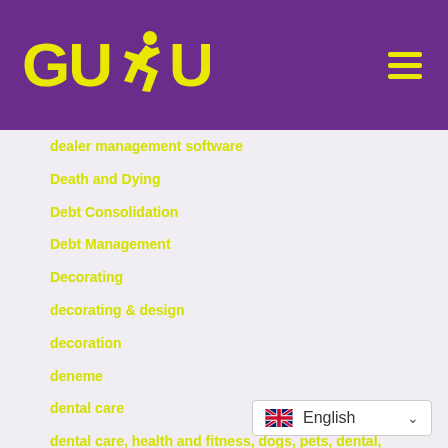[Figure (logo): GUDU logo with yellow text and running figure on purple background, with hamburger menu icon on the right]
dealer management software
Death and Dying
Debt Consolidation
Debt Management
Decorating
decorating & design
decoration
deneme
dental care
dental care, health and fitness, dogs, pets, dental, insurance, detoxification, womens issues, nutrition, diseases
deposit idn poker